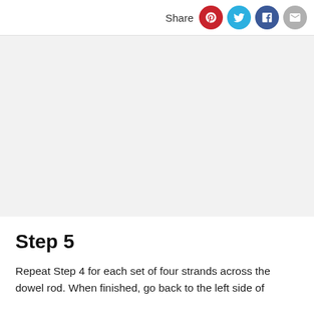Share
[Figure (other): Light gray rectangular image placeholder area]
Step 5
Repeat Step 4 for each set of four strands across the dowel rod. When finished, go back to the left side of